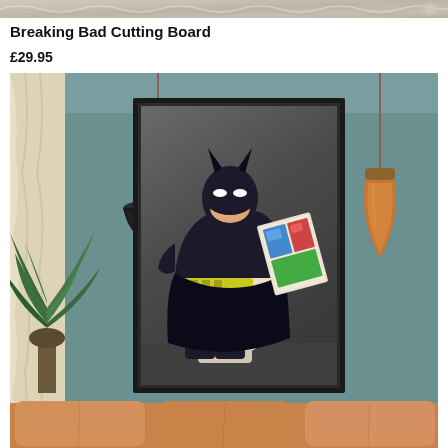[Figure (photo): Top decorative strip image showing ornate metallic/silver decorative pattern]
Breaking Bad Cutting Board
£29.95
[Figure (photo): Product lifestyle photo showing a framed art print of Batman sitting on a toilet reading a comic book, displayed on a teal wall in a stylish room with pendant lights and a leather sofa. The Batman character wears his iconic dark costume with utility belt and is reading a colourful comic. Two copper/industrial pendant lamps hang from the ceiling. A green plant and cream curtains are visible on the left.]